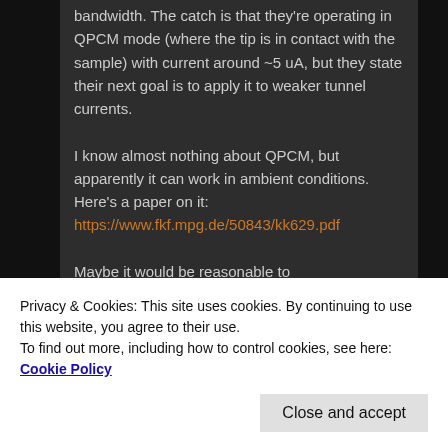bandwidth. The catch is that they're operating in QPCM mode (where the tip is in contact with the sample) with current around ~5 uA, but they state their next goal is to apply it to weaker tunnel currents.
I know almost nothing about QPCM, but apparently it can work in ambient conditions. Here's a paper on it: https://www.fkf.mpg.de/50843/kk629.pdf
Maybe it would be reasonable to
Privacy & Cookies: This site uses cookies. By continuing to use this website, you agree to their use.
To find out more, including how to control cookies, see here: Cookie Policy
All of that said, the resonant